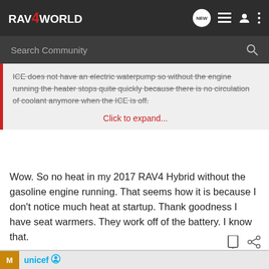RAV4WORLD
Search Community
ICE does not have an electric waterpump so without the engine running the heater stops quite quickly because there is no circulation of coolant anymore when the ICE is off.
Click to expand...
Wow. So no heat in my 2017 RAV4 Hybrid without the gasoline engine running. That seems how it is because I don't notice much heat at startup. Thank goodness I have seat warmers. They work off of the battery. I know that.
[Figure (screenshot): Advertisement section with UNICEF logo and photo of children]
m